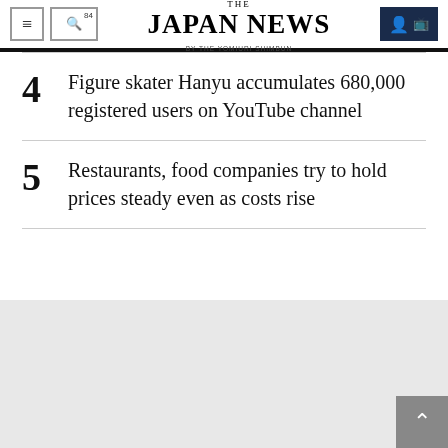THE JAPAN NEWS BY THE YOMIURI SHIMBUN
4 Figure skater Hanyu accumulates 680,000 registered users on YouTube channel
5 Restaurants, food companies try to hold prices steady even as costs rise